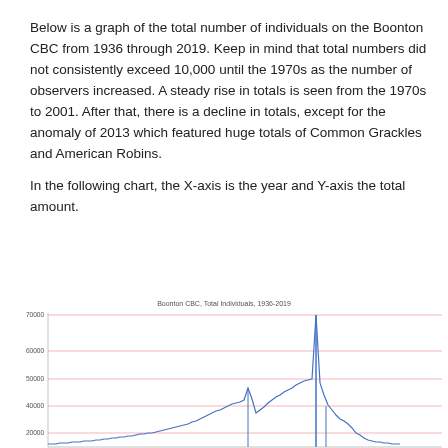Below is a graph of the total number of individuals on the Boonton CBC from 1936 through 2019. Keep in mind that total numbers did not consistently exceed 10,000 until the 1970s as the number of observers increased. A steady rise in totals is seen from the 1970s to 2001. After that, there is a decline in totals, except for the anomaly of 2013 which featured huge totals of Common Grackles and American Robins.

In the following chart, the X-axis is the year and Y-axis the total amount.
[Figure (continuous-plot): Line chart showing total individuals on the Boonton CBC from 1936 to 2019. Y-axis shows values from 0 to 70000+. Notable spike around 2013 reaching above 70000. Gridlines at approximately 20000, 40000, 60000. A tall spike visible near 2013 and another peak around 2001.]